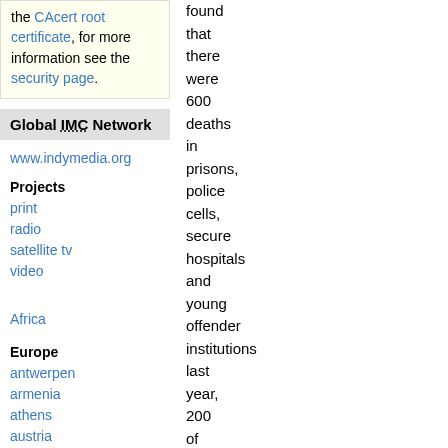the CAcert root certificate, for more information see the security page.
Global IMC Network
www.indymedia.org
Projects
print
radio
satellite tv
video
Africa
Europe
antwerpen
armenia
athens
austria
barcelona
belarus
belgium
found that there were 600 deaths in prisons, police cells, secure hospitals and young offender institutions last year, 200 of which were self-inflicted. While the numbers